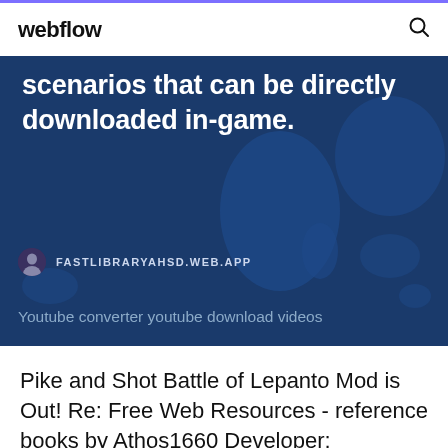webflow
[Figure (screenshot): Blue banner with world map background showing text about scenarios that can be directly downloaded in-game, with attribution to FASTLIBRARYAHSD.WEB.APP and caption about Youtube converter youtube download videos]
Pike and Shot Battle of Lepanto Mod is Out! Re: Free Web Resources - reference books by Athos1660 Developer: Byzantine Games duel to the death,